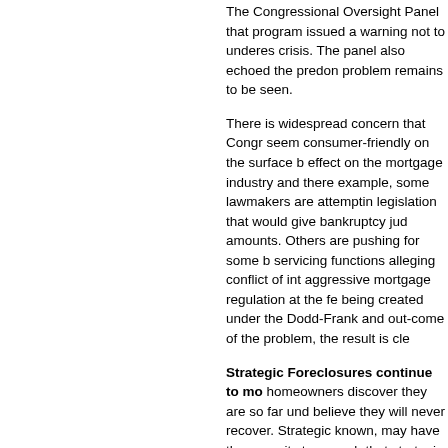The Congressional Oversight Panel that program issued a warning not to underestimate the crisis. The panel also echoed the predominant problem remains to be seen.
There is widespread concern that Congress seem consumer-friendly on the surface but effect on the mortgage industry and there example, some lawmakers are attempting legislation that would give bankruptcy judges amounts. Others are pushing for some b servicing functions alleging conflict of interest aggressive mortgage regulation at the federal level being created under the Dodd-Frank and out-come of the problem, the result is clear.
Strategic Foreclosures continue to mo
homeowners discover they are so far und believe they will never recover. Strategic known, may have the capacity to repay b that strategic defaults may account for as with no end in sight. They are driven by a home loans.